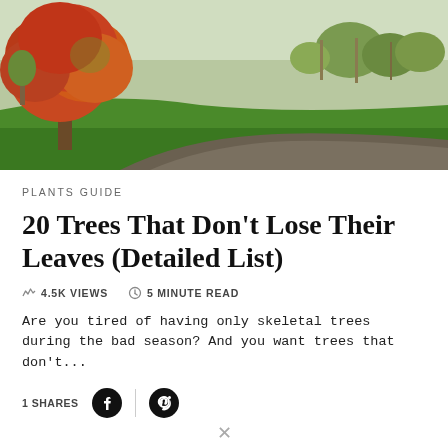[Figure (photo): Autumn park scene with a large red-orange leafed tree on the left, green lawn, and a path winding through the background with other trees]
PLANTS GUIDE
20 Trees That Don't Lose Their Leaves (Detailed List)
4.5K VIEWS   5 MINUTE READ
Are you tired of having only skeletal trees during the bad season? And you want trees that don't...
1 SHARES